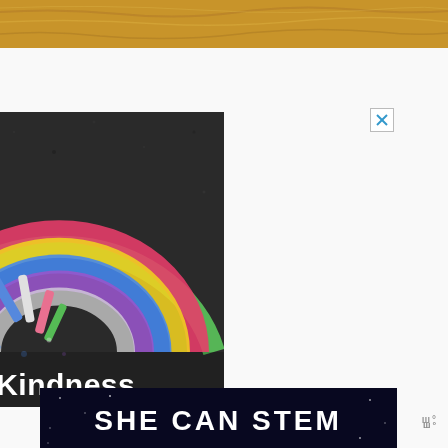[Figure (photo): Wood grain texture banner at top of page, showing light brown bamboo/wood surface]
[Figure (photo): Advertisement image showing a chalk rainbow drawn on dark pavement/asphalt with chalk sticks in the center, overlaid with white bold text '#ViralKindness' at the bottom. A small X close button appears in the top-right corner of the ad.]
[Figure (photo): Advertisement banner with dark navy/black background showing bold white text 'SHE CAN STEM' with star-like dots, partially visible at bottom of page. A 'w°' logo appears to the right.]